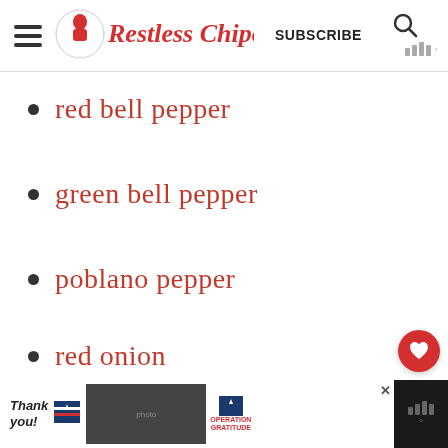Restless Chipotle — SUBSCRIBE
red bell pepper
green bell pepper
poblano pepper
red onion
celery
corn
[Figure (other): Bottom advertisement bar: 'Thank you' with Operation Gratitude ad]
WHAT'S NEXT → Cracker Barrel Hamburger...